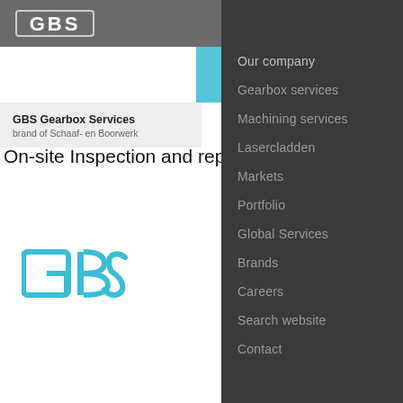GBS   Menu
GBS Gearbox Services
brand of Schaaf- en Boorwerk
On-site Inspection and repair
[Figure (logo): GBS cyan colored logo bottom left]
Our company
Gearbox services
Machining services
Lasercladden
Markets
Portfolio
Global Services
Brands
Careers
Search website
Contact